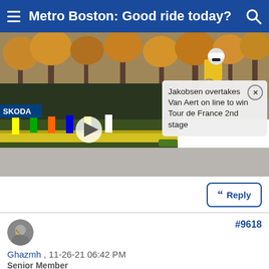Metro Boston: Good ride today?
[Figure (screenshot): Media block with cyclist background photo (person in yellow jacket on bike in autumn forest), a video thumbnail overlay showing Tour de France sprint finish crowd scene with play button, and a news overlay card reading 'Jakobsen overtakes Van Aert on line to win Tour de France 2nd stage']
Jakobsen overtakes Van Aert on line to win Tour de France 2nd stage
Reply
#9618
Ghazmh , 11-26-21 06:42 PM
Senior Member
Quote:
Originally Posted by jimmuller